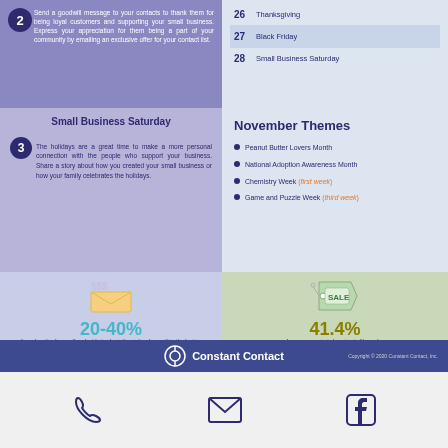Send a goodwill message to your contacts to thank them for being loyal customers and supporting your small business. Express your appreciation for them being a part of your community by emailing an exclusive offer for your contact list.
26 Thanksgiving
27 Black Friday
28 Small Business Saturday
Small Business Saturday
The holidays are a great time to make a more personal connection with the people who support your business. Share a story about how you created your small business or how your family celebrates the holidays.
November Themes
Peanut Butter Lovers Month
National Adoption Awareness Month
Chemistry Week (first week)
Game and Puzzle Week (third week)
[Figure (infographic): Envelope with dollar signs icon above stat: 20-40% of yearly sales for small and mid-sized retailers take place within the last two months of the year.]
[Figure (infographic): Sale tag icon above stat: 41.4% of consumers start shopping in November.]
Constant Contact — Copyright © 2020 Constant Contact, Inc.
[Figure (infographic): Phone, email, and Facebook icons at bottom of page]